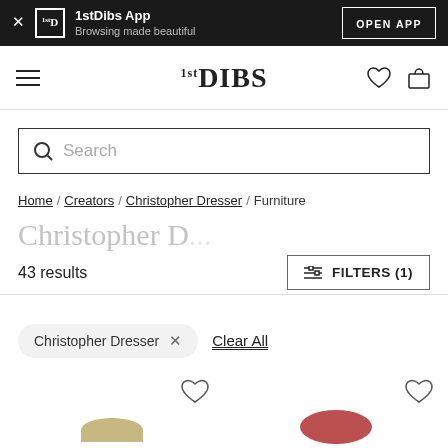1stDibs App — Browsing made beautiful — OPEN APP
[Figure (logo): 1stDIBS logo in navigation bar with hamburger menu, heart icon, and shopping bag icon]
Search
Home / Creators / Christopher Dresser / Furniture
Christopher D...
43 results
FILTERS (1)
Christopher Dresser × Clear All
[Figure (photo): Partial product thumbnails visible at bottom of page with heart/favorite icons]